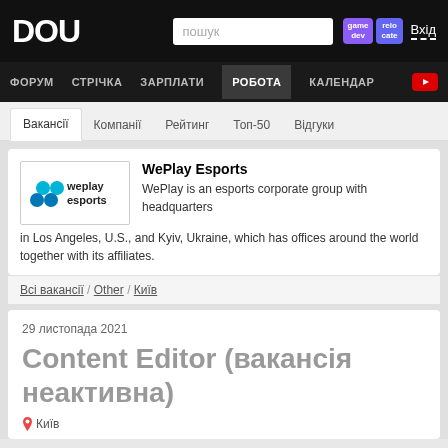DOU
ФОРУМ  СТРІЧКА  ЗАРПЛАТИ  РОБОТА  КАЛЕНДАР
Вакансії  Компанії  Рейтинг  Топ-50  Відгуки
WePlay Esports
WePlay is an esports corporate group with headquarters in Los Angeles, U.S., and Kyiv, Ukraine, which has offices around the world together with its affiliates.
Всі вакансії / Other / Київ
29 листопада 2021
Content Editor (вакансія неактивна)
Київ